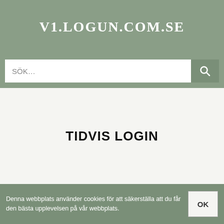V1.LOGUN.COM.SE
[Figure (screenshot): Search bar with magnifying glass icon button on sage green background]
TIDVIS LOGIN
Denna webbplats använder cookies för att säkerställa att du får den bästa upplevelsen på vår webbplats.